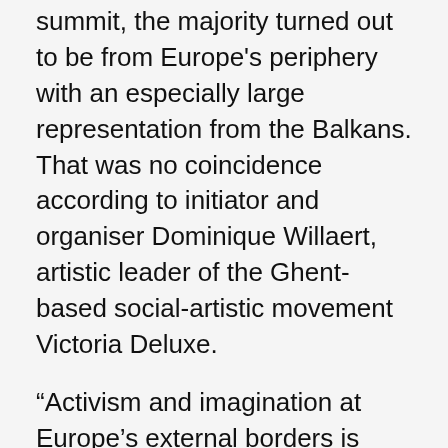summit, the majority turned out to be from Europe's periphery with an especially large representation from the Balkans. That was no coincidence according to initiator and organiser Dominique Willaert, artistic leader of the Ghent-based social-artistic movement Victoria Deluxe.
“Activism and imagination at Europe’s external borders is much more radical than in Western Europe,” he says, “we brought them here especially to fertilise us with their imagination. During our trips around Europe we noticed that people in the periphery don’t feel as though they belong to Europe. That is most noticeable in countries that have fallen victim to European austerity measures.”
“The difference between them and us is striking,” he continues, “in Western Europe we strive for consensus and negotiation with the government, many organisations depend on the government for funding, so they become policy implementers. The activism and imagination of the